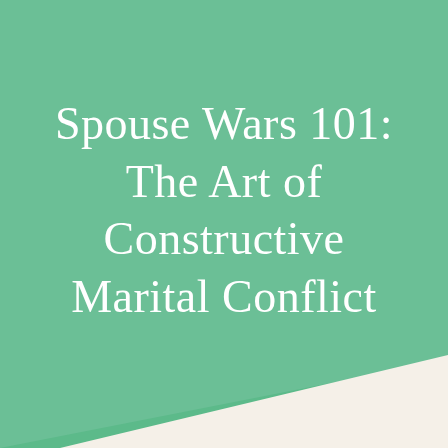Spouse Wars 101: The Art of Constructive Marital Conflict